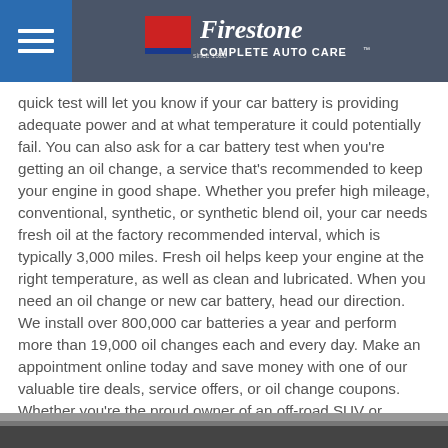Firestone Complete Auto Care
quick test will let you know if your car battery is providing adequate power and at what temperature it could potentially fail. You can also ask for a car battery test when you're getting an oil change, a service that's recommended to keep your engine in good shape. Whether you prefer high mileage, conventional, synthetic, or synthetic blend oil, your car needs fresh oil at the factory recommended interval, which is typically 3,000 miles. Fresh oil helps keep your engine at the right temperature, as well as clean and lubricated. When you need an oil change or new car battery, head our direction. We install over 800,000 car batteries a year and perform more than 19,000 oil changes each and every day. Make an appointment online today and save money with one of our valuable tire deals, service offers, or oil change coupons. Whether you're the proud owner of an off-road SUV or highway-ready commuter car, visit Firestone Complete Auto Care near Colts Neck today!
[Figure (photo): Bottom portion of a dark automotive image, partially visible at the bottom of the page]